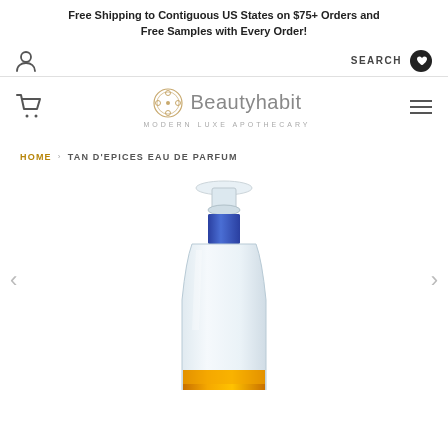Free Shipping to Contiguous US States on $75+ Orders and Free Samples with Every Order!
[Figure (screenshot): Website navigation bar with user icon on left, SEARCH text and heart icon with 0 on right]
[Figure (logo): Beautyhabit logo with circular ornament icon and tagline MODERN LUXE APOTHECARY, cart icon on left, hamburger menu on right]
HOME › TAN D'EPICES EAU DE PARFUM
[Figure (photo): Perfume bottle with clear glass stopper, blue rectangular collar, and amber/orange liquid visible at bottom, on white background with left and right navigation arrows]